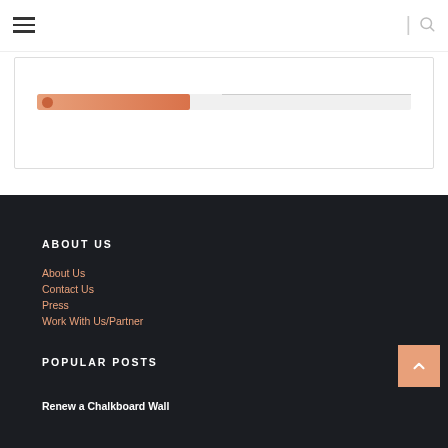Navigation bar with hamburger menu and search icon
[Figure (screenshot): Partial progress bar or pagination element inside a white card box]
ABOUT US
About Us
Contact Us
Press
Work With Us/Partner
POPULAR POSTS
Renew a Chalkboard Wall